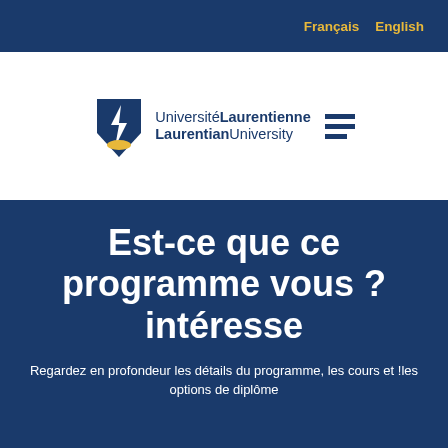Français   English
[Figure (logo): Université Laurentienne / Laurentian University logo with shield icon and horizontal lines]
Est-ce que ce programme vous ?intéresse
Regardez en profondeur les détails du programme, les cours et !les options de diplôme